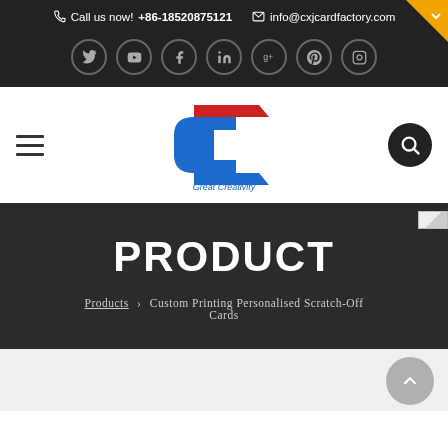Call us now! +86-18520875121  info@cxjcardfactory.com
[Figure (logo): Social media icons row: Twitter, YouTube, Facebook, LinkedIn, Google+, Pinterest, Instagram]
[Figure (logo): CXJ Card Factory logo with red and blue C shape and text 'Great Creativity']
PRODUCT
Products > Custom Printing Personalised Scratch-Off Cards